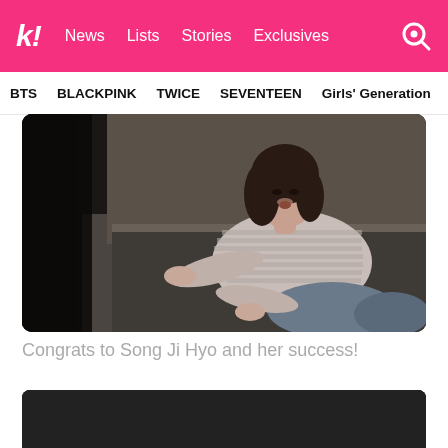k! News Lists Stories Exclusives
BTS BLACKPINK TWICE SEVENTEEN Girls' Generation
[Figure (photo): A woman with dark shoulder-length hair wearing a striped long-sleeve shirt, crouching or falling on a floor, reaching out with both hands, looking distressed. Dark background on the left side.]
Congrats to Song Ji Hyo and her success!
[Figure (photo): Dark/black image, partially visible at the bottom of the page.]